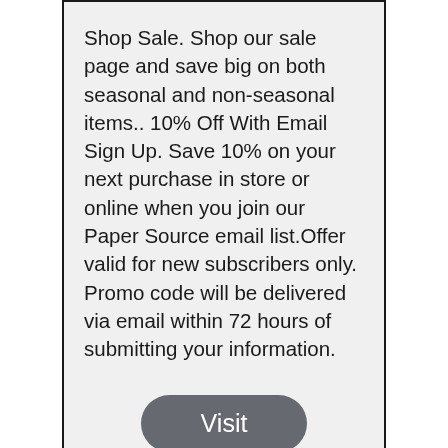Shop Sale. Shop our sale page and save big on both seasonal and non-seasonal items.. 10% Off With Email Sign Up. Save 10% on your next purchase in store or online when you join our Paper Source email list.Offer valid for new subscribers only. Promo code will be delivered via email within 72 hours of submitting your information.
Visit
All MTG Arena Codes - Free Packs And